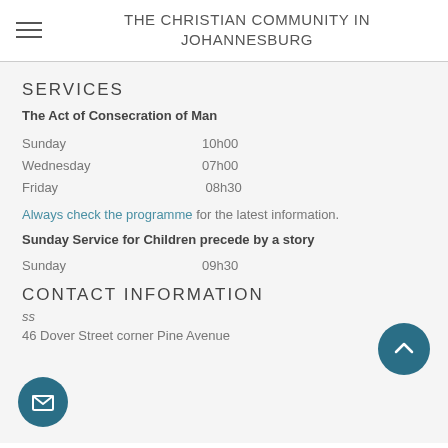THE CHRISTIAN COMMUNITY IN JOHANNESBURG
SERVICES
The Act of Consecration of Man
Sunday    10h00
Wednesday    07h00
Friday    08h30
Always check the programme for the latest information.
Sunday Service for Children precede by a story
Sunday    09h30
CONTACT INFORMATION
Address
46 Dover Street corner Pine Avenue